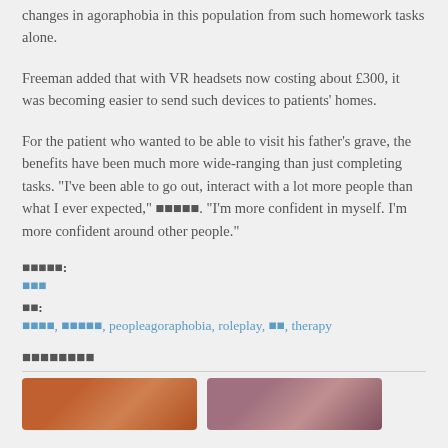changes in agoraphobia in this population from such homework tasks alone.
Freeman added that with VR headsets now costing about £300, it was becoming easier to send such devices to patients' homes.
For the patient who wanted to be able to visit his father’s grave, the benefits have been much more wide-ranging than just completing tasks. “I’ve been able to go out, interact with a lot more people than what I ever expected,” ■■■■■. “I’m more confident in myself. I’m more confident around other people.”
■■■■■:
■■■
■■:
■■■■, ■■■■■, peopleagoraphobia, roleplay, ■■, therapy
■■■■■■■■
[Figure (photo): Two thumbnail images side by side below the section header]